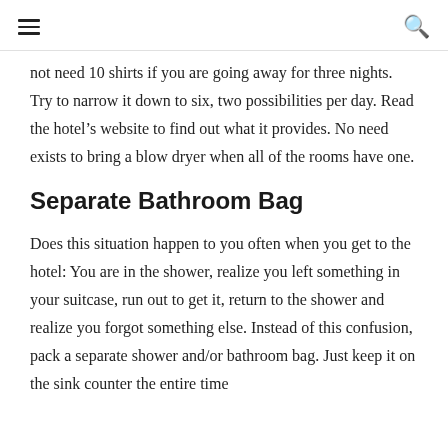≡  🔍
not need 10 shirts if you are going away for three nights. Try to narrow it down to six, two possibilities per day. Read the hotel's website to find out what it provides. No need exists to bring a blow dryer when all of the rooms have one.
Separate Bathroom Bag
Does this situation happen to you often when you get to the hotel: You are in the shower, realize you left something in your suitcase, run out to get it, return to the shower and realize you forgot something else. Instead of this confusion, pack a separate shower and/or bathroom bag. Just keep it on the sink counter the entire time